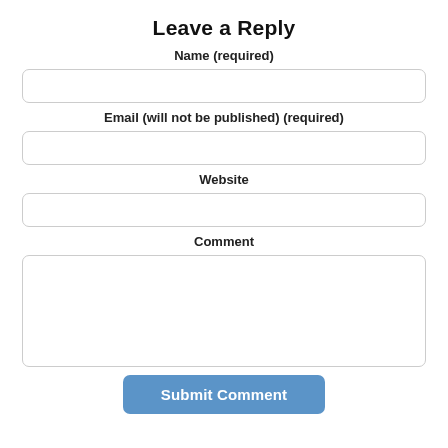Leave a Reply
Name (required)
[Figure (other): Name input field (empty text box)]
Email (will not be published) (required)
[Figure (other): Email input field (empty text box)]
Website
[Figure (other): Website input field (empty text box)]
Comment
[Figure (other): Comment textarea (large empty text area)]
Submit Comment